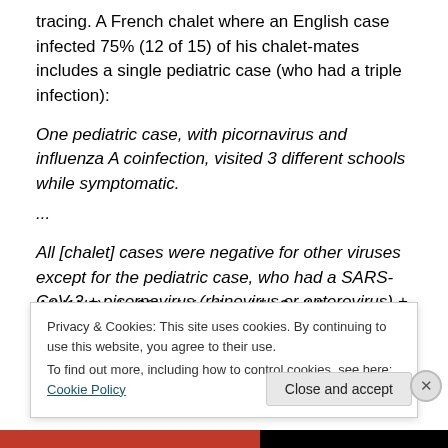tracing. A French chalet where an English case infected 75% (12 of 15) of his chalet-mates includes a single pediatric case (who had a triple infection):
One pediatric case, with picornavirus and influenza A coinfection, visited 3 different schools while symptomatic.
...
All [chalet] cases were negative for other viruses except for the pediatric case, who had a SARS-CoV-2 + picornavirus (rhinovirus or enterovirus) + influenza A(H1N1)pdm09 coinfection. His 2 siblings were negative
Privacy & Cookies: This site uses cookies. By continuing to use this website, you agree to their use.
To find out more, including how to control cookies, see here: Cookie Policy
Close and accept